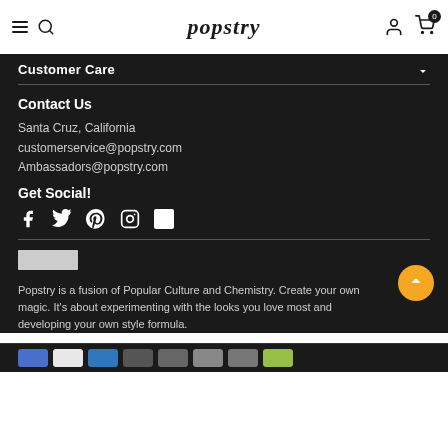popstry
Customer Care
Contact Us
Santa Cruz, California
customerservice@popstry.com
Ambassadors@popstry.com
Get Social!
[Figure (illustration): Social media icons: Facebook, Twitter, Pinterest, Instagram, and a white square icon]
[Figure (logo): Popstry logo image placeholder]
Popstry is a fusion of Popular Culture and Chemistry. Create your own magic. It's about experimenting with the looks you love most and developing your own style formula.
[Figure (illustration): Payment method icons at the bottom of the page]